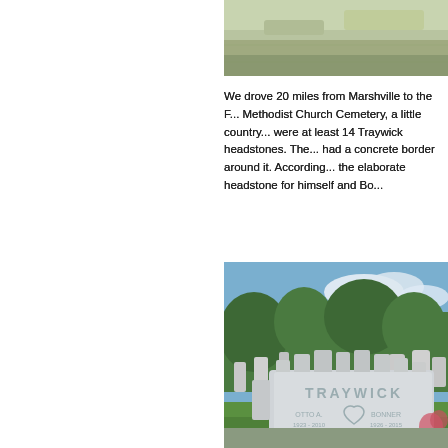[Figure (photo): Top portion of an outdoor scene, appears to be a grassy or sandy area, cropped at top of page]
We drove 20 miles from Marshville to the F... Methodist Church Cemetery, a little country... were at least 14 Traywick headstones. The... had a concrete border around it. According... the elaborate headstone for himself and Bo...
[Figure (photo): Photo of a large granite Traywick family headstone/monument in a cemetery with green grass and trees in the background. The monument reads TRAYWICK at the top with individual name panels below including a heart motif.]
We wrapped up our North Carolina visit wit... experience. It's about solving a puzzle, not... succeeded, two minutes before the one-ho...
[Figure (photo): Bottom portion of another photo, partially visible at bottom of page]